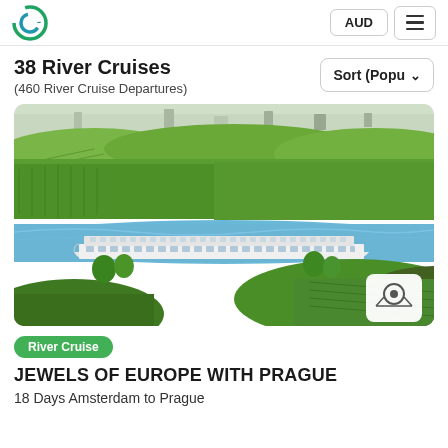AUD | Menu
38 River Cruises
(460 River Cruise Departures)
[Figure (photo): Aerial view of a river cruise ship sailing on a river through green vineyard-covered hills and farmland, with a European town visible in the background. A white river cruise ship occupies the center of the image on a blue-green river.]
River Cruise
JEWELS OF EUROPE WITH PRAGUE
18 Days Amsterdam to Prague